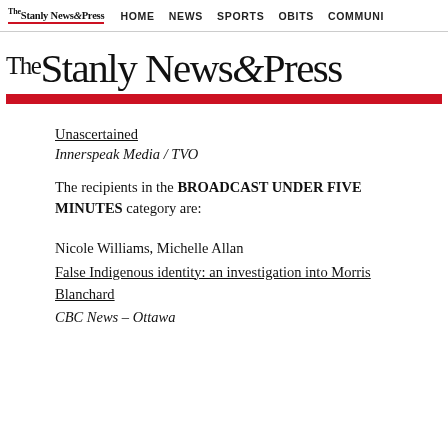The Stanly News & Press | HOME | NEWS | SPORTS | OBITS | COMMUNI
The Stanly News & Press
Unascertained
Innerspeak Media / TVO
The recipients in the BROADCAST UNDER FIVE MINUTES category are:
Nicole Williams, Michelle Allan
False Indigenous identity: an investigation into Morris Blanchard
CBC News – Ottawa